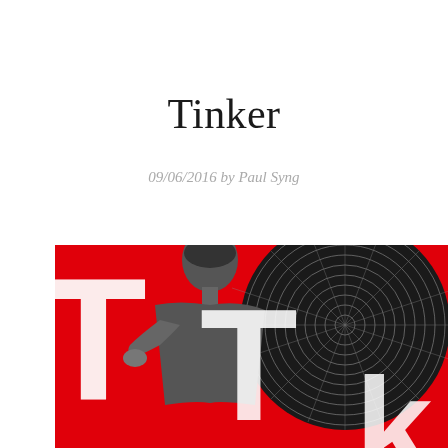Tinker
09/06/2016 by Paul Syng
[Figure (illustration): A red background with large white stylized letter 'T' shapes overlaid on a black-and-white photographic image of a person and a circular spiral/radial pattern resembling a vinyl record or spider web.]